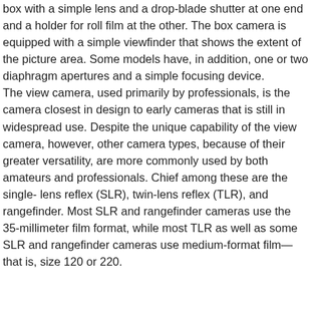box with a simple lens and a drop-blade shutter at one end and a holder for roll film at the other. The box camera is equipped with a simple viewfinder that shows the extent of the picture area. Some models have, in addition, one or two diaphragm apertures and a simple focusing device. The view camera, used primarily by professionals, is the camera closest in design to early cameras that is still in widespread use. Despite the unique capability of the view camera, however, other camera types, because of their greater versatility, are more commonly used by both amateurs and professionals. Chief among these are the single- lens reflex (SLR), twin-lens reflex (TLR), and rangefinder. Most SLR and rangefinder cameras use the 35-millimeter film format, while most TLR as well as some SLR and rangefinder cameras use medium-format film—that is, size 120 or 220.